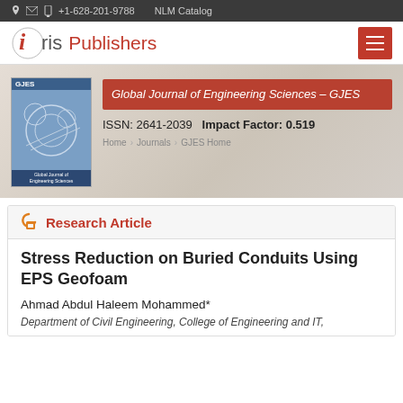+1-628-201-9788  NLM Catalog
[Figure (logo): Iris Publishers logo with red hamburger menu button]
[Figure (infographic): Global Journal of Engineering Sciences banner with journal cover image, title box in red, ISSN and Impact Factor, and breadcrumb navigation]
Research Article
Stress Reduction on Buried Conduits Using EPS Geofoam
Ahmad Abdul Haleem Mohammed*
Department of Civil Engineering, College of Engineering and IT,